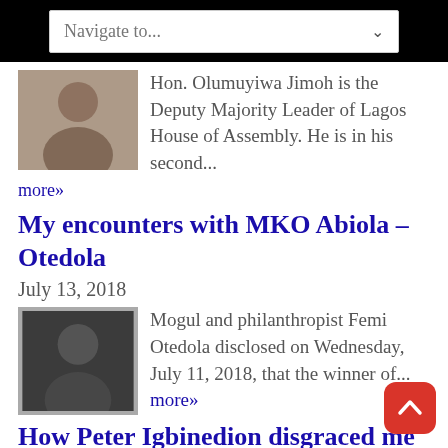Navigate to...
Hon. Olumuyiwa Jimoh is the Deputy Majority Leader of Lagos House of Assembly. He is in his second...
more»
My encounters with MKO Abiola – Otedola
July 13, 2018
Mogul and philanthropist Femi Otedola disclosed on Wednesday, July 11, 2018, that the winner of... more»
How Peter Igbinedion disgraced me over MKO